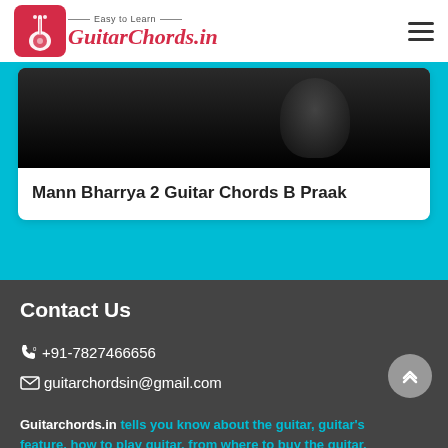Easy to Learn GuitarChords.in
[Figure (screenshot): Dark music video thumbnail showing a person, black background with gradient]
Mann Bharrya 2 Guitar Chords B Praak
Contact Us
☎ +91-7827466656
✉ guitarchordsin@gmail.com
Guitarchords.in tells you know about the guitar, guitar's feature, how to play guitar, from where to buy the guitar,